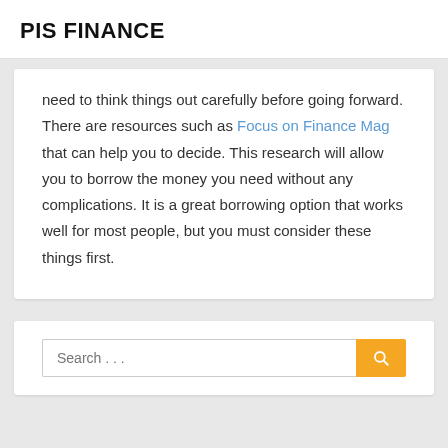PIS FINANCE
need to think things out carefully before going forward. There are resources such as Focus on Finance Mag that can help you to decide. This research will allow you to borrow the money you need without any complications. It is a great borrowing option that works well for most people, but you must consider these things first.